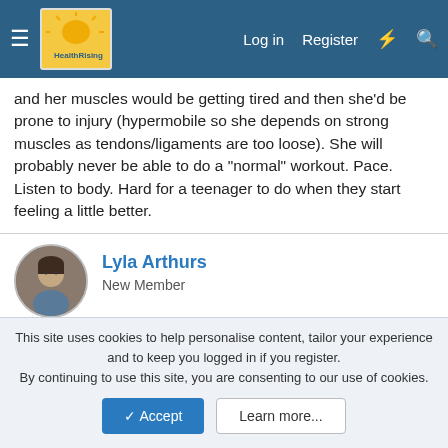HealthRising | Log in | Register
and her muscles would be getting tired and then she'd be prone to injury (hypermobile so she depends on strong muscles as tendons/ligaments are too loose). She will probably never be able to do a "normal" workout. Pace. Listen to body. Hard for a teenager to do when they start feeling a little better.
Lyla Arthurs
New Member
May 18, 2015  #12
I was offered counselling and CBT when I was first diagnosed. I turned it down because as far as I was concerned it was more important to focus on the physical aspects of ME/CFS with
This site uses cookies to help personalise content, tailor your experience and to keep you logged in if you register.
By continuing to use this site, you are consenting to our use of cookies.